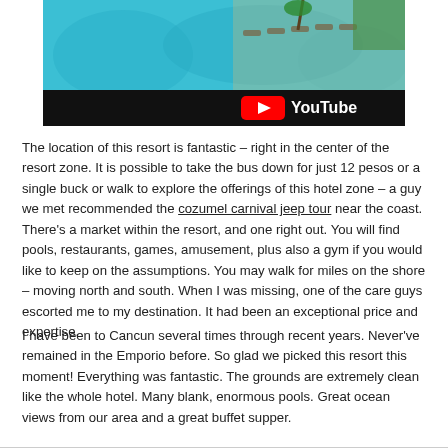[Figure (screenshot): Aerial view of a resort pool with lounge chairs and palm trees, overlaid with a YouTube play button logo on a black bar at the bottom right]
The location of this resort is fantastic – right in the center of the resort zone. It is possible to take the bus down for just 12 pesos or a single buck or walk to explore the offerings of this hotel zone – a guy we met recommended the cozumel carnival jeep tour near the coast. There's a market within the resort, and one right out. You will find pools, restaurants, games, amusement, plus also a gym if you would like to keep on the assumptions. You may walk for miles on the shore – moving north and south. When I was missing, one of the care guys escorted me to my destination. It had been an exceptional price and expertise.
I have been to Cancun several times through recent years. Never've remained in the Emporio before. So glad we picked this resort this moment! Everything was fantastic. The grounds are extremely clean like the whole hotel. Many blank, enormous pools. Great ocean views from our area and a great buffet supper.